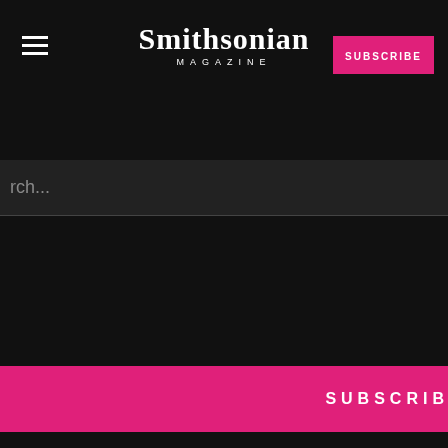Smithsonian MAGAZINE
SUBSCRIBE
[Figure (screenshot): Smithsonian Magazine website navigation overlay showing search bar, SUBSCRIBE (pink button), GIVE A GIFT (outlined button), and RENEW (outlined button) on dark background, with partial article text visible on right side]
SUBSCRIBE
GIVE A GIFT
RENEW
Report an ad
[Figure (screenshot): Disney Bundle advertisement banner showing Hulu, Disney+, ESPN+ logos with GET THE DISNEY BUNDLE call to action button]
GET THE DISNEY BUNDLE
Incl. Hulu (ad-supported) or Hulu (No Ads). Access content from each service separately. ©2021 Disney and its related entities